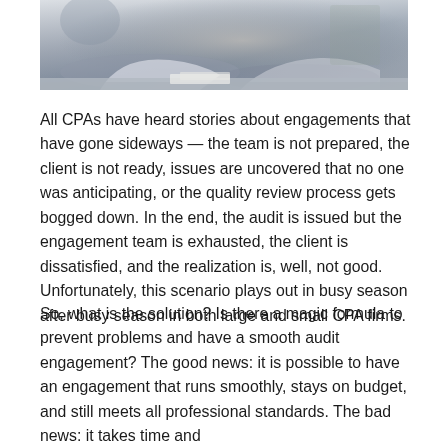[Figure (photo): Photo of people at a desk in a professional office setting, hands visible working on documents]
All CPAs have heard stories about engagements that have gone sideways — the team is not prepared, the client is not ready, issues are uncovered that no one was anticipating, or the quality review process gets bogged down. In the end, the audit is issued but the engagement team is exhausted, the client is dissatisfied, and the realization is, well, not good. Unfortunately, this scenario plays out in busy season after busy season in both large and small CPA firms.
So, what is the solution? Is there a magic formula to prevent problems and have a smooth audit engagement? The good news: it is possible to have an engagement that runs smoothly, stays on budget, and still meets all professional standards. The bad news: it takes time and